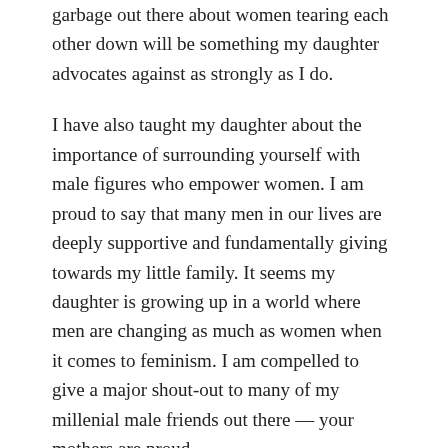garbage out there about women tearing each other down will be something my daughter advocates against as strongly as I do.
I have also taught my daughter about the importance of surrounding yourself with male figures who empower women. I am proud to say that many men in our lives are deeply supportive and fundamentally giving towards my little family. It seems my daughter is growing up in a world where men are changing as much as women when it comes to feminism. I am compelled to give a major shout-out to many of my millenial male friends out there — your mothers are proud.
My grandmother was yet another inspiration for my daughter and I. She taught me to always pursue what you love no matter what other people say you can or cannot do. She achieved a university degree in fine arts from Mount Allison University in 1958, and was the only woman in her class. She was also a single-working mom in the 1970s and pursued her art with a passion,